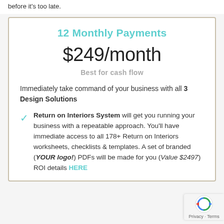before it's too late.
12 Monthly Payments
$249/month
Best for cash flow
Immediately take command of your business with all 3 Design Solutions
Return on Interiors System will get you running your business with a repeatable approach. You'll have immediate access to all 178+ Return on Interiors worksheets, checklists & templates. A set of branded (YOUR logo!) PDFs will be made for you (Value $2497) ROI details HERE